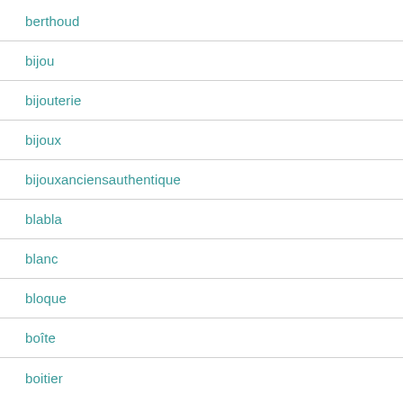berthoud
bijou
bijouterie
bijoux
bijouxanciensauthentique
blabla
blanc
bloque
boîte
boitier